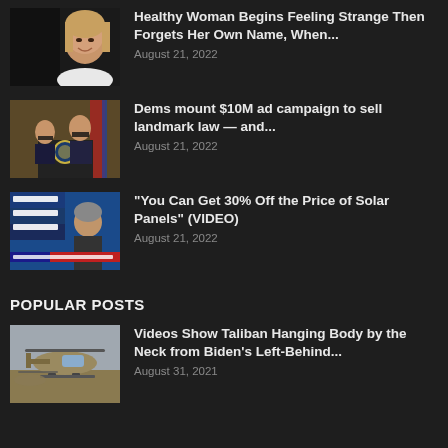Healthy Woman Begins Feeling Strange Then Forgets Her Own Name, When...
August 21, 2022
Dems mount $10M ad campaign to sell landmark law — and...
August 21, 2022
"You Can Get 30% Off the Price of Solar Panels" (VIDEO)
August 21, 2022
POPULAR POSTS
Videos Show Taliban Hanging Body by the Neck from Biden's Left-Behind...
August 31, 2021